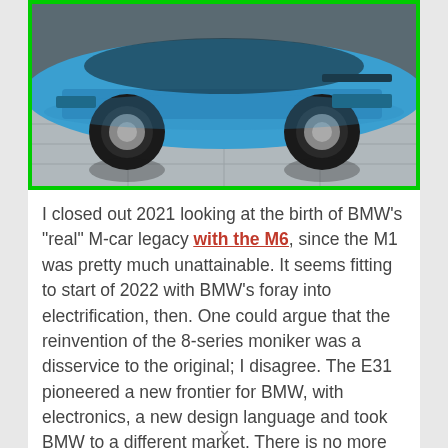[Figure (photo): A blue BMW sports car (i8) photographed from low angle showing the front wheels, tires, and lower body against a reflective tile floor. Image is bordered with bright green.]
I closed out 2021 looking at the birth of BMW's "real" M-car legacy with the M6, since the M1 was pretty much unattainable. It seems fitting to start of 2022 with BMW's foray into electrification, then. One could argue that the reinvention of the 8-series moniker was a disservice to the original; I disagree. The E31 pioneered a new frontier for BMW, with electronics, a new design language and took BMW to a different market. There is no more fitting designation than the i8 in my mind. The slinky